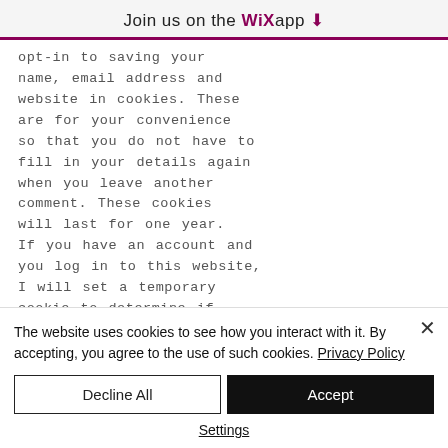Join us on the WiX app ⬇
opt-in to saving your name, email address and website in cookies. These are for your convenience so that you do not have to fill in your details again when you leave another comment. These cookies will last for one year. If you have an account and you log in to this website, I will set a temporary cookie to determine if
The website uses cookies to see how you interact with it. By accepting, you agree to the use of such cookies. Privacy Policy
Decline All
Accept
Settings